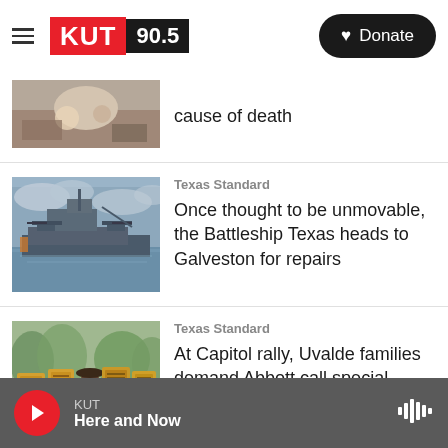KUT 90.5 | Donate
[Figure (screenshot): Partial top story image showing hands/items, story text reading '...cause of death']
[Figure (photo): Photo of Battleship Texas on water with cloudy sky]
Texas Standard
Once thought to be unmovable, the Battleship Texas heads to Galveston for repairs
[Figure (photo): Photo of Uvalde families at Capitol rally holding protest signs]
Texas Standard
At Capitol rally, Uvalde families demand Abbott call special session on gun reform
KUT | Here and Now